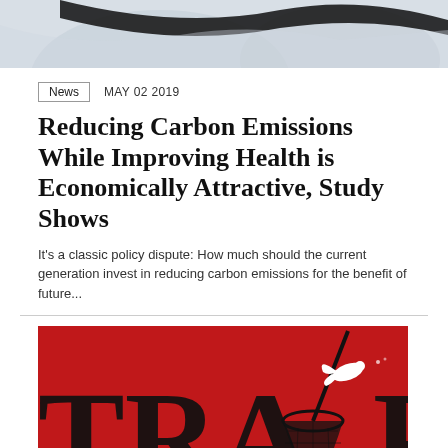[Figure (illustration): Abstract illustration with light blue/grey tones and a swooping black curved shape, partial view at top of page]
News   MAY 02 2019
Reducing Carbon Emissions While Improving Health is Economically Attractive, Study Shows
It's a classic policy dispute: How much should the current generation invest in reducing carbon emissions for the benefit of future...
[Figure (illustration): Red background with large black letters TRA and a butterfly net silhouette, white bird flying, dramatic graphic art style]